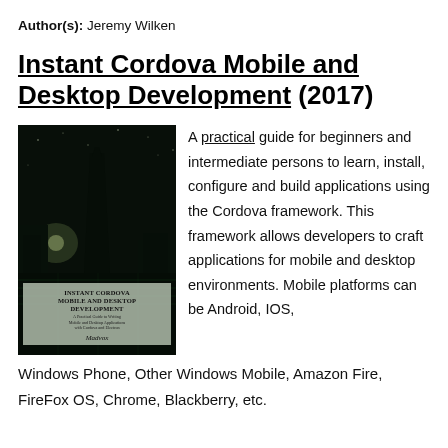Author(s): Jeremy Wilken
Instant Cordova Mobile and Desktop Development (2017)
[Figure (photo): Book cover of 'Instant Cordova Mobile and Desktop Development' showing a dark nighttime cityscape with a tall building silhouette and green text/lines. Cover label reads 'INSTANT CORDOVA MOBILE AND DESKTOP DEVELOPMENT - A Practical Guide to Writing Mobile and Desktop Applications with Cordova and Electron' by Madvox.]
A practical guide for beginners and intermediate persons to learn, install, configure and build applications using the Cordova framework. This framework allows developers to craft applications for mobile and desktop environments. Mobile platforms can be Android, IOS, Windows Phone, Other Windows Mobile, Amazon Fire, FireFox OS, Chrome, Blackberry, etc.